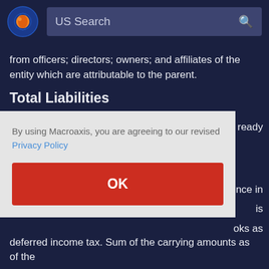US Search
from officers; directors; owners; and affiliates of the entity which are attributable to the parent.
Total Liabilities
By using Macroaxis, you are agreeing to our revised Privacy Policy
OK
deferred income tax. Sum of the carrying amounts as of the